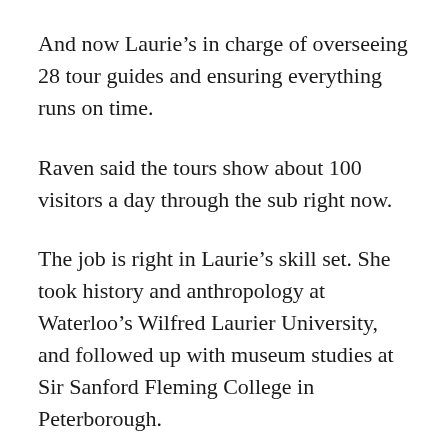And now Laurie’s in charge of overseeing 28 tour guides and ensuring everything runs on time.
Raven said the tours show about 100 visitors a day through the sub right now.
The job is right in Laurie’s skill set. She took history and anthropology at Waterloo’s Wilfred Laurier University, and followed up with museum studies at Sir Sanford Fleming College in Peterborough.
As for the Ojibwa, it spent 14 years moored in Halifax harbour, waiting to be cut up into scrap metal. But about four years ago, the effort began